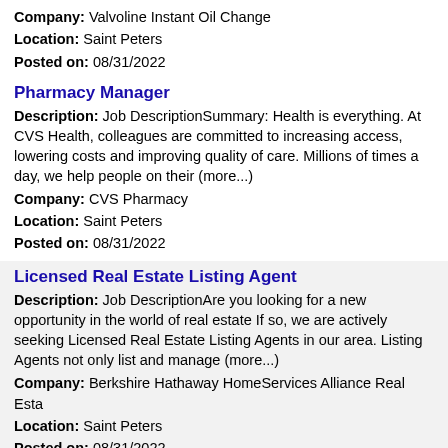Company: Valvoline Instant Oil Change
Location: Saint Peters
Posted on: 08/31/2022
Pharmacy Manager
Description: Job DescriptionSummary: Health is everything. At CVS Health, colleagues are committed to increasing access, lowering costs and improving quality of care. Millions of times a day, we help people on their (more...)
Company: CVS Pharmacy
Location: Saint Peters
Posted on: 08/31/2022
Licensed Real Estate Listing Agent
Description: Job DescriptionAre you looking for a new opportunity in the world of real estate If so, we are actively seeking Licensed Real Estate Listing Agents in our area. Listing Agents not only list and manage (more...)
Company: Berkshire Hathaway HomeServices Alliance Real Esta
Location: Saint Peters
Posted on: 08/31/2022
Salary in Belleville, Illinois Area | More details for Belleville, Illinois Jobs |Salary